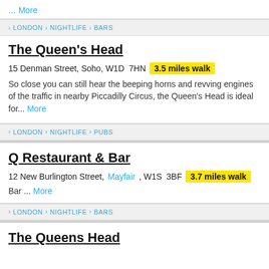... More
> LONDON > NIGHTLIFE > BARS
The Queen's Head
15 Denman Street, Soho, W1D 7HN  3.5 miles walk
So close you can still hear the beeping horns and revving engines of the traffic in nearby Piccadilly Circus, the Queen's Head is ideal for... More
> LONDON > NIGHTLIFE > PUBS
Q Restaurant & Bar
12 New Burlington Street, Mayfair, W1S 3BF  3.7 miles walk
Bar ... More
> LONDON > NIGHTLIFE > BARS
The Queens Head